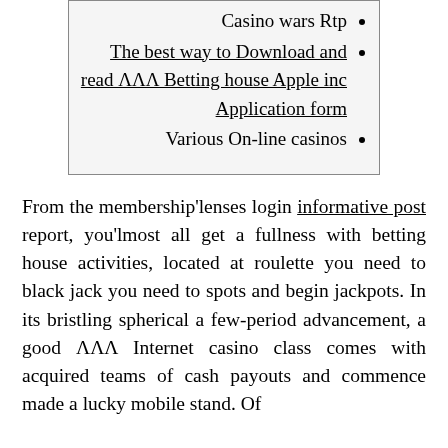Casino wars Rtp
The best way to Download and read ΛΛΛ Betting house Apple inc Application form
Various On-line casinos
From the membership'lenses login informative post report, you'lmost all get a fullness with betting house activities, located at roulette you need to black jack you need to spots and begin jackpots. In its bristling spherical a few-period advancement, a good ΛΛΛ Internet casino class comes with acquired teams of cash payouts and commence made a lucky mobile stand. Of